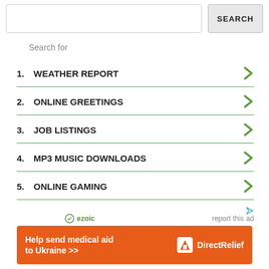SEARCH
Search for
1. WEATHER REPORT
2. ONLINE GREETINGS
3. JOB LISTINGS
4. MP3 MUSIC DOWNLOADS
5. ONLINE GAMING
ezoic   report this ad
[Figure (infographic): DirectRelief advertisement banner: orange background with text 'Help send medical aid to Ukraine >>' and DirectRelief logo on right]